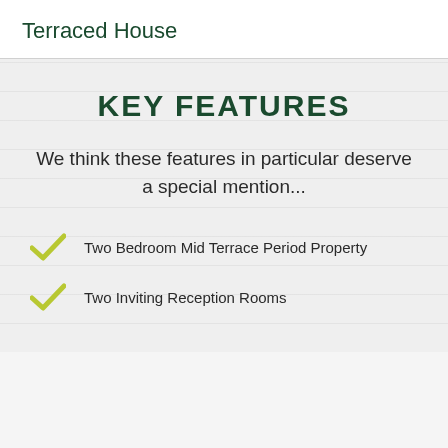Terraced House
KEY FEATURES
We think these features in particular deserve a special mention...
Two Bedroom Mid Terrace Period Property
Two Inviting Reception Rooms